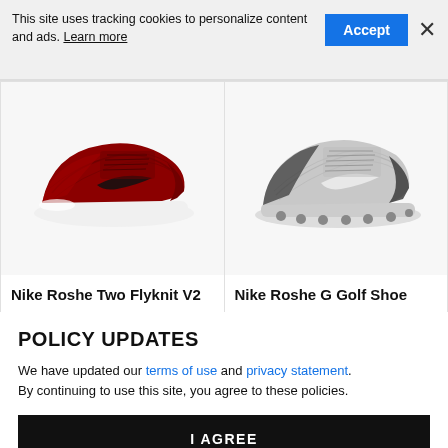This site uses tracking cookies to personalize content and ads. Learn more
[Figure (screenshot): Cookie consent banner with Accept button and close X]
[Figure (photo): Nike Roshe Two Flyknit V2 shoe — red and black colorway]
[Figure (photo): Nike Roshe G Golf Shoe — gray and white colorway]
Nike Roshe Two Flyknit V2
Nike Roshe G Golf Shoe
POLICY UPDATES
We have updated our terms of use and privacy statement. By continuing to use this site, you agree to these policies.
I AGREE